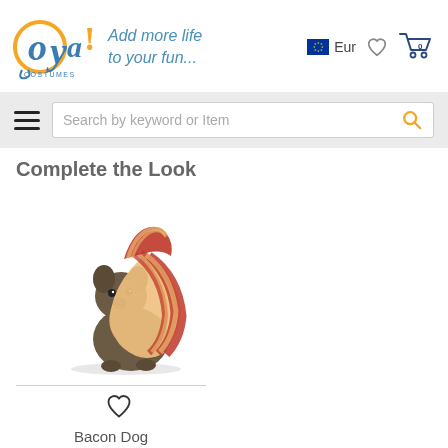[Figure (logo): Oya Costumes logo with tagline 'Add more life to your fun...' in blue italic text, with EU flag, Eur text, heart icon, and shopping cart showing 0]
[Figure (other): Search bar area with hamburger menu icon on the left and search field with magnifying glass icon on right]
Complete the Look
[Figure (photo): French bulldog wearing a bacon strip costume (red and tan striped fabric draped over the dog's back)]
Bacon Dog Costume